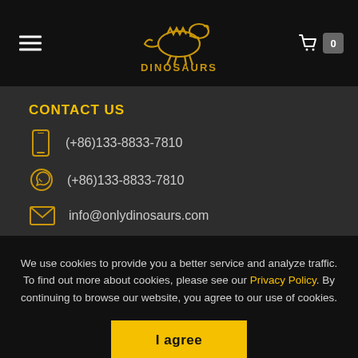DINOSAURS - navigation bar with hamburger menu and cart
CONTACT US
(+86)133-8833-7810
(+86)133-8833-7810
info@onlydinosaurs.com
To Be The First
We use cookies to provide you a better service and analyze traffic. To find out more about cookies, please see our Privacy Policy. By continuing to browse our website, you agree to our use of cookies.
I agree